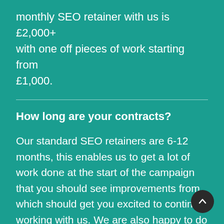monthly SEO retainer with us is £2,000+ with one off pieces of work starting from £1,000.
How long are your contracts?
Our standard SEO retainers are 6-12 months, this enables us to get a lot of work done at the start of the campaign that you should see improvements from which should get you excited to continue working with us. We are also happy to do one-off bits of work technical audits if required.